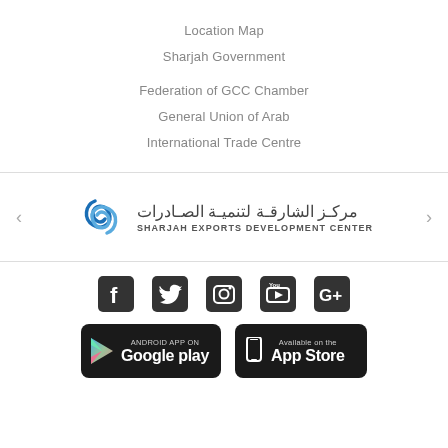Location Map
Sharjah Government
Federation of GCC Chamber
General Union of Arab
International Trade Centre
[Figure (logo): Sharjah Exports Development Center logo with Arabic text and blue swirl icon]
[Figure (infographic): Social media icons: Facebook, Twitter, Instagram, YouTube, Google+]
[Figure (infographic): App store download buttons: Google Play and App Store]